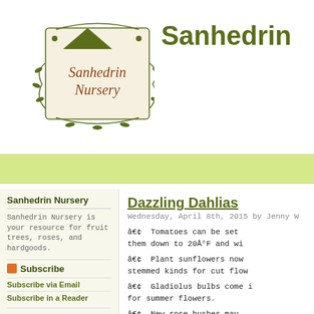[Figure (logo): Sanhedrin Nursery logo with decorative botanical border and mountain silhouette, text reads 'Sanhedrin Nursery' in brown serif font on light background]
Sanhedrin
Sanhedrin Nursery
Sanhedrin Nursery is your resource for fruit trees, roses, and hardgoods.
Subscribe
Subscribe via Email
Subscribe in a Reader
Search Blog
Categories
Garden Article (435)
Willits (380)
Archives
Dazzling Dahlias
Wednesday, April 8th, 2015 by Jenny W
• Tomatoes can be set them down to 20Å°F and wi
• Plant sunflowers now stemmed kinds for cut flow
• Gladiolus bulbs come i for summer flowers.
• New rose bushes may Prune back dead shoots an
• Put up hummingbird entertaining birds.
Dazzling Dahlias